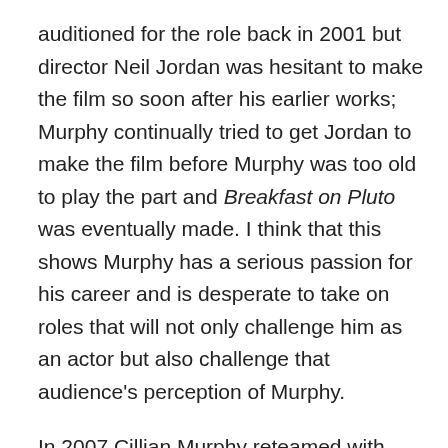auditioned for the role back in 2001 but director Neil Jordan was hesitant to make the film so soon after his earlier works; Murphy continually tried to get Jordan to make the film before Murphy was too old to play the part and Breakfast on Pluto was eventually made. I think that this shows Murphy has a serious passion for his career and is desperate to take on roles that will not only challenge him as an actor but also challenge that audience's perception of Murphy.
In 2007 Cillian Murphy reteamed with Danny Boyle to make science fiction film Sunshine, in which Murphy had the lead role. This is the first film that I remember seeing Murphy in and actually knowing who he was and it was this performance that led me to search for some of his earlier works because I thought the film was fantastic and